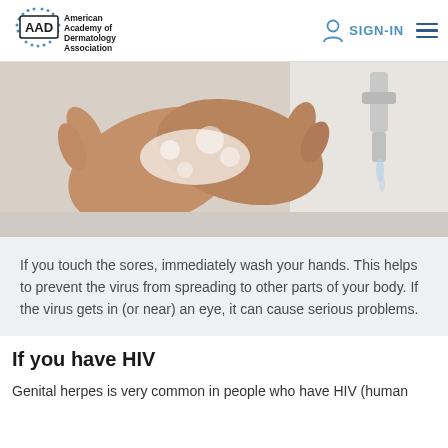AAD - American Academy of Dermatology Association | SIGN-IN
[Figure (photo): Close-up photo of two hands being washed with soap and lather, with a faucet running water in the background.]
If you touch the sores, immediately wash your hands. This helps to prevent the virus from spreading to other parts of your body. If the virus gets in (or near) an eye, it can cause serious problems.
If you have HIV
Genital herpes is very common in people who have HIV (human